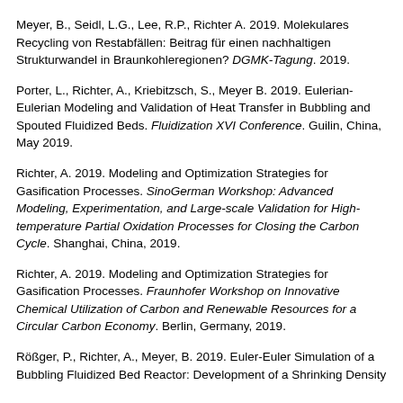Meyer, B., Seidl, L.G., Lee, R.P., Richter A. 2019. Molekulares Recycling von Restabfällen: Beitrag für einen nachhaltigen Strukturwandel in Braunkohleregionen? DGMK-Tagung. 2019.
Porter, L., Richter, A., Kriebitzsch, S., Meyer B. 2019. Eulerian-Eulerian Modeling and Validation of Heat Transfer in Bubbling and Spouted Fluidized Beds. Fluidization XVI Conference. Guilin, China, May 2019.
Richter, A. 2019. Modeling and Optimization Strategies for Gasification Processes. SinoGerman Workshop: Advanced Modeling, Experimentation, and Large-scale Validation for High-temperature Partial Oxidation Processes for Closing the Carbon Cycle. Shanghai, China, 2019.
Richter, A. 2019. Modeling and Optimization Strategies for Gasification Processes. Fraunhofer Workshop on Innovative Chemical Utilization of Carbon and Renewable Resources for a Circular Carbon Economy. Berlin, Germany, 2019.
Rößger, P., Richter, A., Meyer, B. 2019. Euler-Euler Simulation of a Bubbling Fluidized Bed Reactor: Development of a Shrinking Density...